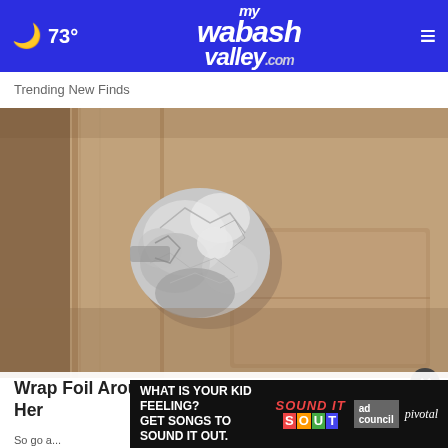73° mywabashvalley.com
Trending New Finds
[Figure (photo): A door knob wrapped in aluminum foil, photographed close-up on a wooden interior door.]
Wrap Foil Around Your Doorknob at Night b-one, Her...
[Figure (other): Advertisement overlay: 'WHAT IS YOUR KID FEELING? GET SONGS TO SOUND IT OUT.' with Sound It Out, Ad Council, and Pivotal branding.]
So go a...